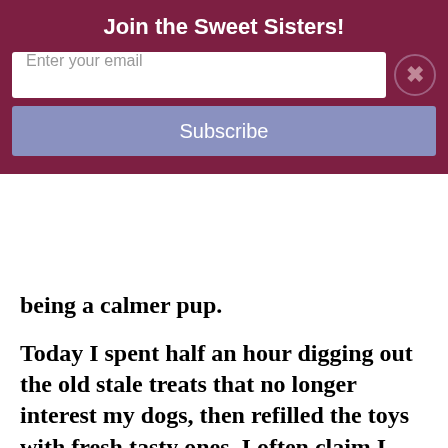Join the Sweet Sisters!
Enter your email
Subscribe
being a calmer pup.
Today I spent half an hour digging out the old stale treats that no longer interest my dogs, then refilled the toys with fresh tasty ones. I often claim I don't have enough time to get things done that need doing, so why would I place such importance on this?  Well, my furry pets are my responsibility and it gives me a lot of pleasure to see them happy chewing on their doggy treat toys, and it also helps the household to have calmer pets around.